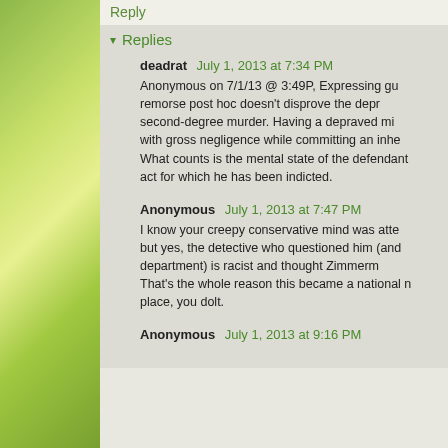Reply
Replies
deadrat  July 1, 2013 at 7:34 PM
Anonymous on 7/1/13 @ 3:49P, Expressing gu... remorse post hoc doesn't disprove the depr... second-degree murder. Having a depraved mi... with gross negligence while committing an inhe... What counts is the mental state of the defendant... act for which he has been indicted.
Anonymous  July 1, 2013 at 7:47 PM
I know your creepy conservative mind was atte... but yes, the detective who questioned him (and... department) is racist and thought Zimmerm... That's the whole reason this became a national n... place, you dolt.
Anonymous  July 1, 2013 at 9:16 PM